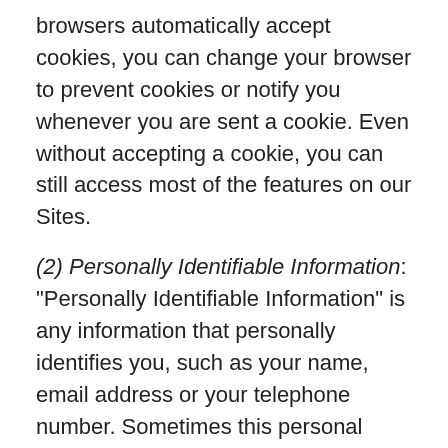browsers automatically accept cookies, you can change your browser to prevent cookies or notify you whenever you are sent a cookie. Even without accepting a cookie, you can still access most of the features on our Sites.
(2) Personally Identifiable Information: “Personally Identifiable Information” is any information that personally identifies you, such as your name, email address or your telephone number. Sometimes this personal information is needed when you submit a resume or when you contact us via email or online forms. We may ask you to provide us with personal information on a voluntary basis in certain areas of our Sites. In particular, you may be asked to provide the following information: